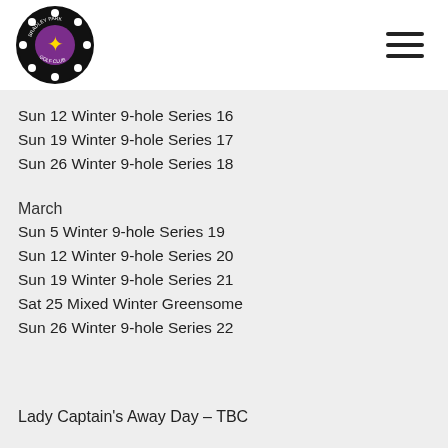Bradley Park Golf Club logo and navigation
Sun 12 Winter 9-hole Series 16
Sun 19 Winter 9-hole Series 17
Sun 26 Winter 9-hole Series 18
March
Sun 5 Winter 9-hole Series 19
Sun 12 Winter 9-hole Series 20
Sun 19 Winter 9-hole Series 21
Sat 25 Mixed Winter Greensome
Sun 26 Winter 9-hole Series 22
Lady Captain's Away Day – TBC